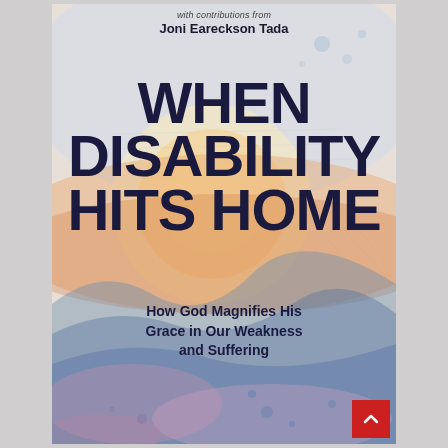[Figure (illustration): Book cover for 'When Disability Hits Home: How God Magnifies His Grace in Our Weakness and Suffering' with contributions from Joni Eareckson Tada. Watercolor background with sunset and mountain imagery, large bold dark blue title text on center.]
with contributions from
Joni Eareckson Tada
WHEN DISABILITY HITS HOME
How God Magnifies His Grace in Our Weakness and Suffering